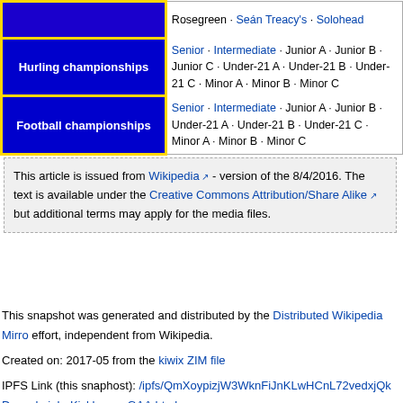| Category | Links |
| --- | --- |
|  | Rosegreen · Seán Treacy's · Solohead |
| Hurling championships | Senior · Intermediate · Junior A · Junior B · Junior C · Under-21 A · Under-21 B · Under-21 C · Minor A · Minor B · Minor C |
| Football championships | Senior · Intermediate · Junior A · Junior B · Under-21 A · Under-21 B · Under-21 C · Minor A · Minor B · Minor C |
This article is issued from Wikipedia - version of the 8/4/2016. The text is available under the Creative Commons Attribution/Share Alike but additional terms may apply for the media files.
This snapshot was generated and distributed by the Distributed Wikipedia Mirror effort, independent from Wikipedia.
Created on: 2017-05 from the kiwix ZIM file
IPFS Link (this snaphost): /ipfs/QmXoypizjW3WknFiJnKLwHCnL72vedxjQkDonaskeigh_Kickhams_GAA.html